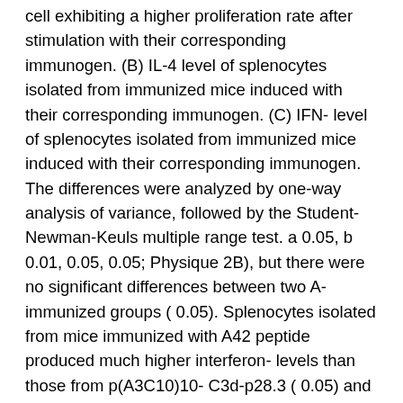cell exhibiting a higher proliferation rate after stimulation with their corresponding immunogen. (B) IL-4 level of splenocytes isolated from immunized mice induced with their corresponding immunogen. (C) IFN- level of splenocytes isolated from immunized mice induced with their corresponding immunogen. The differences were analyzed by one-way analysis of variance, followed by the Student-Newman-Keuls multiple range test. a 0.05, b 0.01, 0.05, 0.05; Physique 2B), but there were no significant differences between two A-immunized groups ( 0.05). Splenocytes isolated from mice immunized with A42 peptide produced much higher interferon- levels than those from p(A3C10)10- C3d-p28.3 ( 0.05) and pcDNA3.1(+) ( 0.05; Physique 2C). However, approximately equal interferon- levels were detected in the p(A3C10)10-C3d-p28.3 and pcDNA3.1(+) groups ( 0.05). Induction of anti-A antibodies binding A plaques in the APP/PS1 transgenic mouse brain Brain sections from a 12-month-old